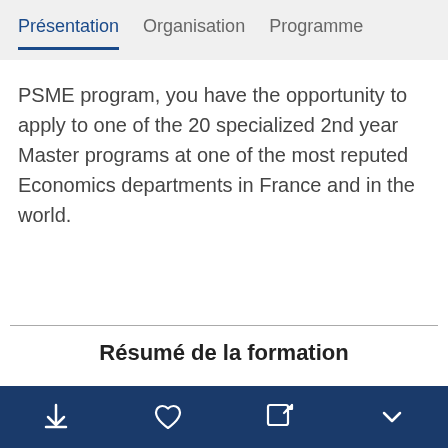Présentation  Organisation  Programme
PSME program, you have the opportunity to apply to one of the 20 specialized 2nd year Master programs at one of the most reputed Economics departments in France and in the world.
Résumé de la formation
[Figure (other): Dark blue bottom navigation bar with download, heart, edit, and chevron-down icons]